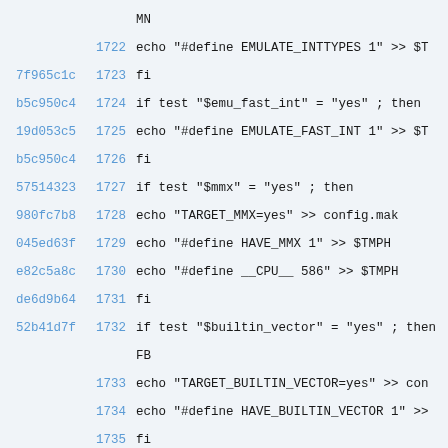Code listing lines 1722-1736 of a shell configure script with hash annotations
MN  1722  echo "#define EMULATE_INTTYPES 1" >> $T
7f965c1c  1723  fi
b5c950c4  1724  if test "$emu_fast_int" = "yes" ; then
19d053c5  1725    echo "#define EMULATE_FAST_INT 1" >> $T
b5c950c4  1726  fi
57514323  1727  if test "$mmx" = "yes" ; then
980fc7b8  1728    echo "TARGET_MMX=yes" >> config.mak
045ed63f  1729    echo "#define HAVE_MMX 1" >> $TMPH
e82c5a8c  1730    echo "#define __CPU__ 586" >> $TMPH
de6d9b64  1731  fi
52b41d7f  1732  if test "$builtin_vector" = "yes" ; then FB
1733    echo "TARGET_BUILTIN_VECTOR=yes" >> con
1734    echo "#define HAVE_BUILTIN_VECTOR 1" >>
1735  fi
82eb4b0f  1736  if test "$mm3dnow" = "yes" ; then 7M